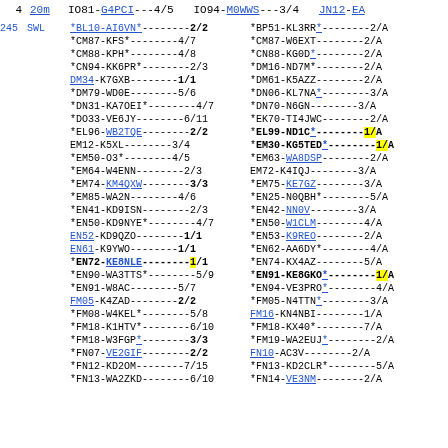4  20m  IO81-G4PCI---4/5  IO94-M0WWS---3/4  JN12-EA...
245  SWL  *BL10-AI6VN*--------2/2  *BP51-KL3RR*--------2/...
*CM87-KFS*--------4/7  *CM87-W6EXT--------2/...
*CM88-KPH*--------4/8  *CN88-KG0D*--------2/...
*CN94-KK6PR*--------2/3  *DM16-ND7M*--------2/...